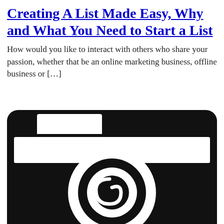Creating A List Made Easy, Why and What You Need to Start a List
How would you like to interact with others who share your passion, whether that be an online marketing business, offline business or […]
[Figure (illustration): Black and white icon of a camera with a large circular lens, showing a stylized spiral/swirl detail inside the lens. The camera body has a rectangular viewfinder on the top-left and a wide rectangular bar across the top portion.]